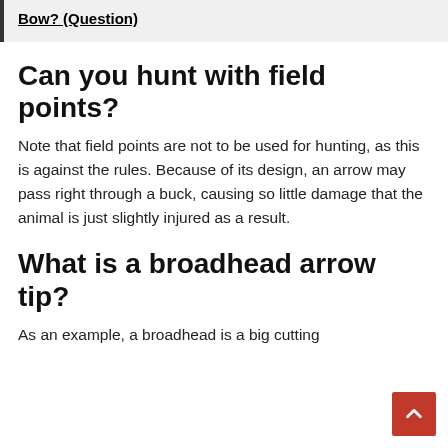Bow? (Question)
Can you hunt with field points?
Note that field points are not to be used for hunting, as this is against the rules. Because of its design, an arrow may pass right through a buck, causing so little damage that the animal is just slightly injured as a result.
What is a broadhead arrow tip?
As an example, a broadhead is a big cutting